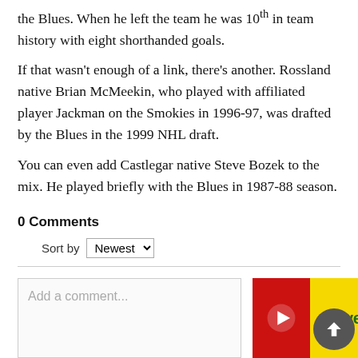the Blues. When he left the team he was 10th in team history with eight shorthanded goals.
If that wasn't enough of a link, there's another. Rossland native Brian McMeekin, who played with affiliated player Jackman on the Smokies in 1996-97, was drafted by the Blues in the 1999 NHL draft.
You can even add Castlegar native Steve Bozek to the mix. He played briefly with the Blues in 1987-88 season.
0 Comments
Sort by Newest
[Figure (screenshot): Comment input box with placeholder text 'Add a comment...' and a Save On Foods advertisement banner with red and yellow sections]
[Figure (logo): Save On Foods logo on yellow background]